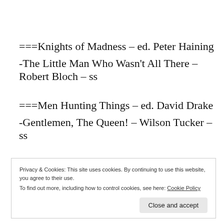===Knights of Madness – ed. Peter Haining
-The Little Man Who Wasn't All There – Robert Bloch – ss
===Men Hunting Things – ed. David Drake
-Gentlemen, The Queen! – Wilson Tucker – ss
Privacy & Cookies: This site uses cookies. By continuing to use this website, you agree to their use.
To find out more, including how to control cookies, see here: Cookie Policy
Close and accept